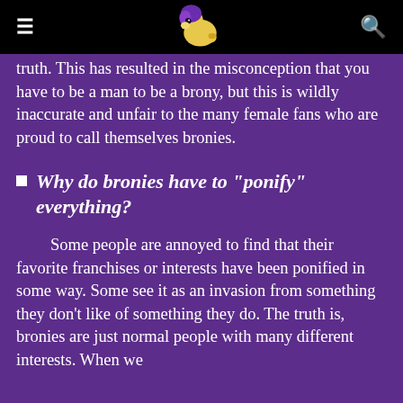≡ [logo] Q
truth. This has resulted in the misconception that you have to be a man to be a brony, but this is wildly inaccurate and unfair to the many female fans who are proud to call themselves bronies.
Why do bronies have to "ponify" everything?
Some people are annoyed to find that their favorite franchises or interests have been ponified in some way. Some see it as an invasion from something they don't like of something they do. The truth is, bronies are just normal people with many different interests. When we